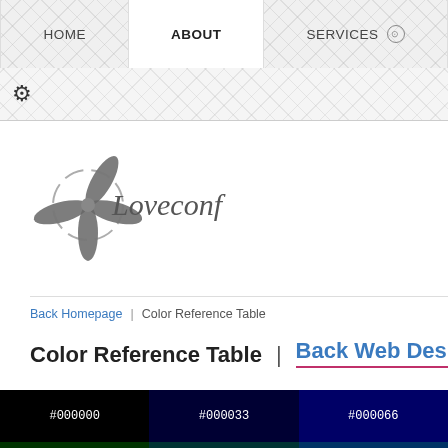HOME | ABOUT | SERVICES
[Figure (logo): Loveconf logo with decorative flower/star graphic and italic serif text]
Back Homepage | Color Reference Table
Color Reference Table | Back Web Design Page
| #000000 | #000033 | #000066 |
| #003300 | #003333 | #003366 |